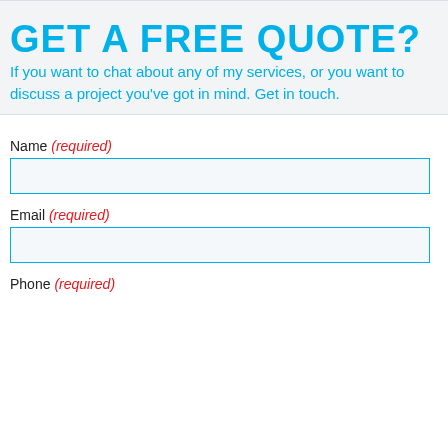GET A FREE QUOTE?
If you want to chat about any of my services, or you want to discuss a project you've got in mind. Get in touch.
Name (required)
Email (required)
Phone (required)